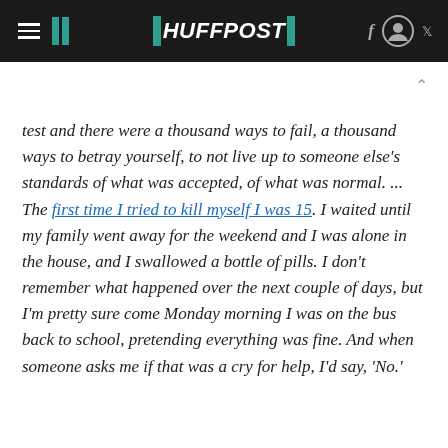HUFFPOST
test and there were a thousand ways to fail, a thousand ways to betray yourself, to not live up to someone else's standards of what was accepted, of what was normal. ... The first time I tried to kill myself I was 15. I waited until my family went away for the weekend and I was alone in the house, and I swallowed a bottle of pills. I don't remember what happened over the next couple of days, but I'm pretty sure come Monday morning I was on the bus back to school, pretending everything was fine. And when someone asks me if that was a cry for help, I'd say, 'No.'